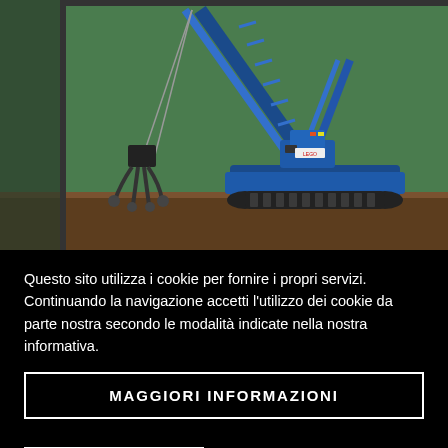[Figure (photo): A LEGO Technic blue crawler crane model with a claw/grabber attachment, displayed against a green background on a wooden surface.]
Questo sito utilizza i cookie per fornire i propri servizi. Continuando la navigazione accetti l'utilizzo dei cookie da parte nostra secondo le modalità indicate nella nostra informativa.
MAGGIORI INFORMAZIONI
CHIUDI